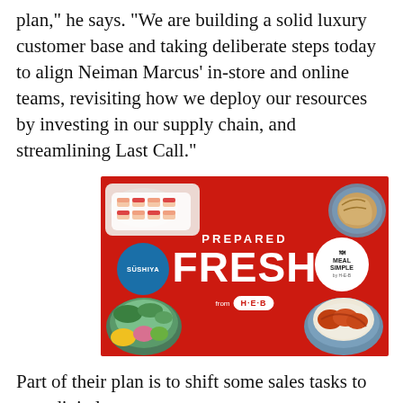plan," he says. "We are building a solid luxury customer base and taking deliberate steps today to align Neiman Marcus' in-store and online teams, revisiting how we deploy our resources by investing in our supply chain, and streamlining Last Call."
[Figure (photo): Advertisement for H-E-B grocery store showing prepared fresh food items on a red background. Features a sushi platter on the upper left, a plate of food upper right, a colorful grain bowl lower left, a chicken bowl lower right. Center text reads 'PREPARED FRESH from H-E-B'. Also shows Sushiya and Meal Simple logos.]
Part of their plan is to shift some sales tasks to new digital